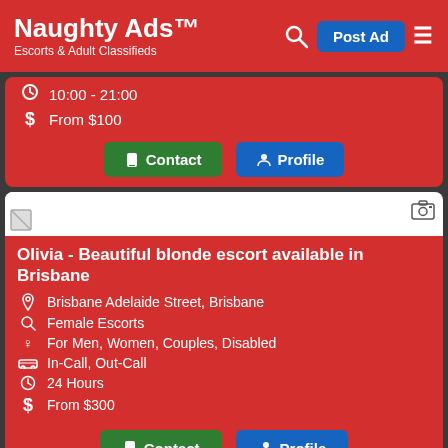Naughty Ads™ — Escorts & Adult Classifieds
10:00 - 21:00
From $100
Contact | Profile
Olivia - Beautiful blonde escort available in Brisbane
Brisbane Adelaide Street, Brisbane
Female Escorts
For Men, Women, Couples, Disabled
In-Call, Out-Call
24 Hours
From $300
Contact | Profile
The curvylicious AYEESHA